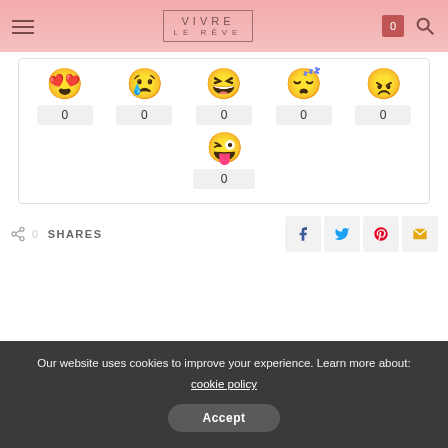VIVRE LE RÊVE
[Figure (screenshot): Six emoji reaction buttons each with a count of 0: love-eyes, sad, laughing, sleepy, angry, tongue-out]
0  SHARES
Our website uses cookies to improve your experience. Learn more about: cookie policy
Accept